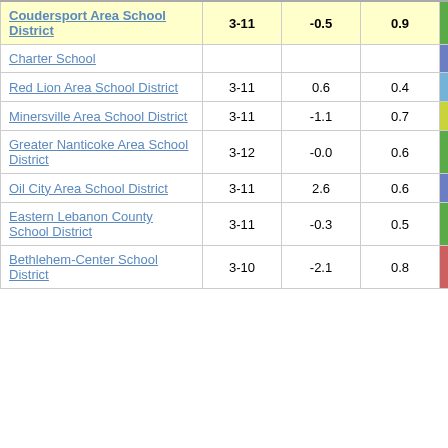| District | Grades | Col1 | Col2 | Score |
| --- | --- | --- | --- | --- |
| Coudersport Area School District | 3-11 | -0.5 | 0.9 | -0.53 |
| Charter School |  |  |  |  |
| Red Lion Area School District | 3-11 | 0.6 | 0.4 | 1.63 |
| Minersville Area School District | 3-11 | -1.1 | 0.7 | -1.43 |
| Greater Nanticoke Area School District | 3-12 | -0.0 | 0.6 | -0.00 |
| Oil City Area School District | 3-11 | 2.6 | 0.6 | 4.69 |
| Eastern Lebanon County School District | 3-11 | -0.3 | 0.5 | -0.57 |
| Bethlehem-Center School District | 3-10 | -2.1 | 0.8 | -2.78 |